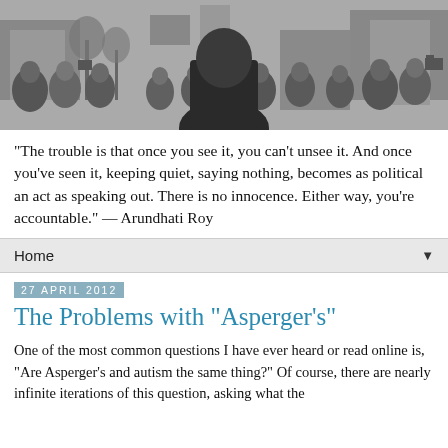[Figure (photo): Black and white photograph of a person seen from behind addressing a crowd of people in an urban outdoor setting, with buildings and bare trees in the background.]
"The trouble is that once you see it, you can't unsee it. And once you've seen it, keeping quiet, saying nothing, becomes as political an act as speaking out. There is no innocence. Either way, you're accountable." — Arundhati Roy
Home
27 APRIL 2012
The Problems with "Asperger's"
One of the most common questions I have ever heard or read online is, "Are Asperger's and autism the same thing?" Of course, there are nearly infinite iterations of this question, asking what the "differences" are between Asperger's and autism, and what the